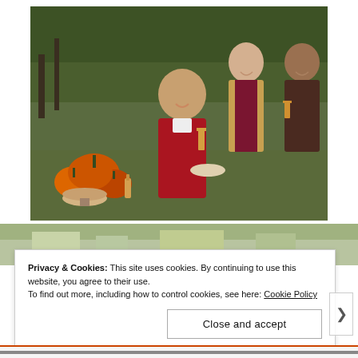[Figure (photo): Three women smiling outdoors in an autumn setting. The woman in the foreground wears a red coat and holds a glass of cider, seated near pumpkins and a pie. Two women stand behind her, one in a tan jacket and one in a dark patterned outfit, both smiling. Green foliage and trees in the background.]
[Figure (photo): Partial second photo visible below the main photo, showing an outdoor autumn scene.]
Privacy & Cookies: This site uses cookies. By continuing to use this website, you agree to their use.
To find out more, including how to control cookies, see here: Cookie Policy
Close and accept